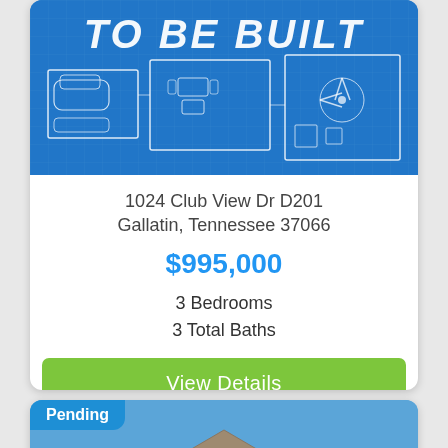[Figure (illustration): Blueprint floorplan image with text 'TO BE BUILT' at top on blue background]
1024 Club View Dr D201
Gallatin, Tennessee 37066
$995,000
3 Bedrooms
3 Total Baths
View Details
[Figure (photo): House exterior photo with triangular rooflines against blue sky, with 'Pending' badge in upper left]